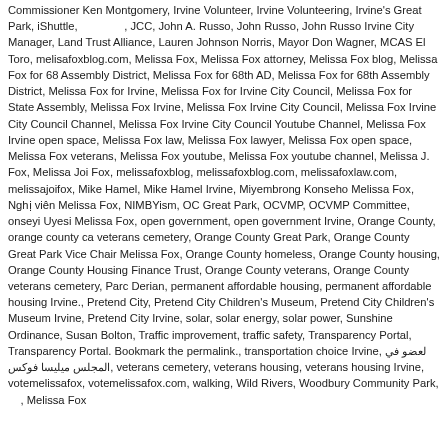Commissioner Ken Montgomery, Irvine Volunteer, Irvine Volunteering, Irvine's Great Park, iShuttle, JCC, John A. Russo, John Russo, John Russo Irvine City Manager, Land Trust Alliance, Lauren Johnson Norris, Mayor Don Wagner, MCAS El Toro, melisafoxblog.com, Melissa Fox, Melissa Fox attorney, Melissa Fox blog, Melissa Fox for 68 Assembly District, Melissa Fox for 68th AD, Melissa Fox for 68th Assembly District, Melissa Fox for Irvine, Melissa Fox for Irvine City Council, Melissa Fox for State Assembly, Melissa Fox Irvine, Melissa Fox Irvine City Council, Melissa Fox Irvine City Council Channel, Melissa Fox Irvine City Council Youtube Channel, Melissa Fox Irvine open space, Melissa Fox law, Melissa Fox lawyer, Melissa Fox open space, Melissa Fox veterans, Melissa Fox youtube, Melissa Fox youtube channel, Melissa J. Fox, Melissa Joi Fox, melissafoxblog, melissafoxblog.com, melissafoxlaw.com, melissajoifox, Mike Hamel, Mike Hamel Irvine, Miyembrong Konseho Melissa Fox, Nghị viên Melissa Fox, NIMBYism, OC Great Park, OCVMP, OCVMP Committee, onseyi Uyesi Melissa Fox, open government, open government Irvine, Orange County, orange county ca veterans cemetery, Orange County Great Park, Orange County Great Park Vice Chair Melissa Fox, Orange County homeless, Orange County housing, Orange County Housing Finance Trust, Orange County veterans, Orange County veterans cemetery, Parc Derian, permanent affordable housing, permanent affordable housing Irvine., Pretend City, Pretend City Children's Museum, Pretend City Children's Museum Irvine, Pretend City Irvine, solar, solar energy, solar power, Sunshine Ordinance, Susan Bolton, Traffic improvement, traffic safety, Transparency Portal, Transparency Portal. Bookmark the permalink., transportation choice Irvine, لعضو في المجلس ميليسا فوكس, veterans cemetery, veterans housing, veterans housing Irvine, votemelissafox, votemelissafox.com, walking, Wild Rivers, Woodbury Community Park, Melissa Fox